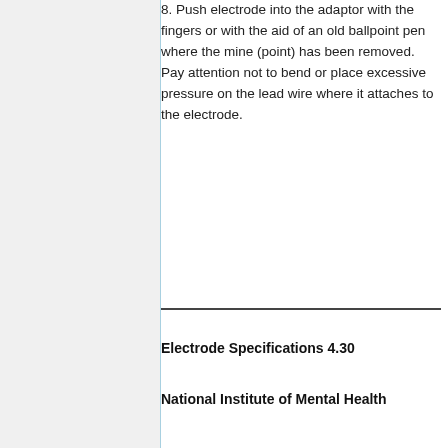8. Push electrode into the adaptor with the fingers or with the aid of an old ballpoint pen where the mine (point) has been removed. Pay attention not to bend or place excessive pressure on the lead wire where it attaches to the electrode.
Electrode Specifications 4.30
National Institute of Mental Health